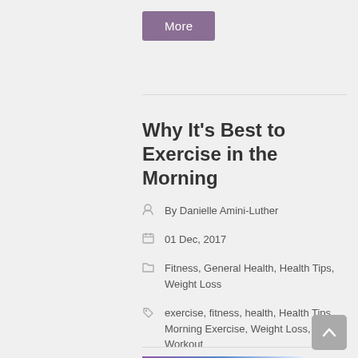More
Why It's Best to Exercise in the Morning
By Danielle Amini-Luther
01 Dec, 2017
Fitness, General Health, Health Tips, Weight Loss
exercise, fitness, health, Health Tips, Morning Exercise, Weight Loss, Workout
[Figure (photo): Featured image showing sunrise sky with text 'The Benefits of Early Morning Exercise']